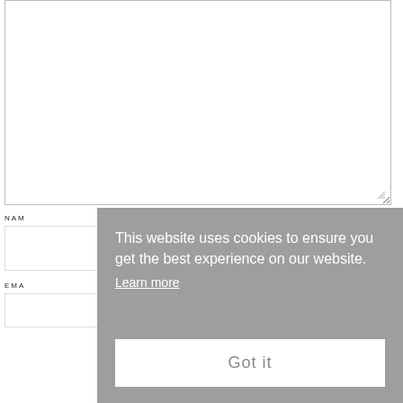[Figure (screenshot): A textarea input box with a resize handle at the bottom-right corner, showing an empty white text area with a light gray border.]
NAME
[Figure (screenshot): An empty text input field for Name.]
EMAIL
[Figure (screenshot): An empty text input field for Email.]
This website uses cookies to ensure you get the best experience on our website. Learn more
Got it